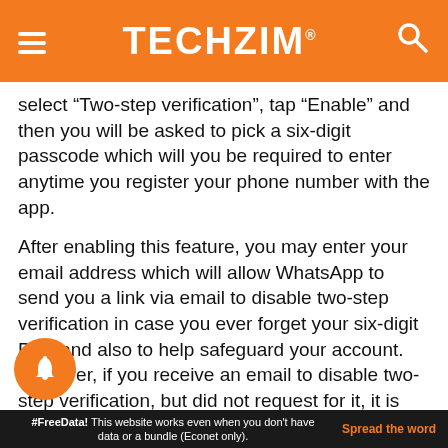TECHZiM
select “Two-step verification”, tap “Enable” and then you will be asked to pick a six-digit passcode which will you be required to enter anytime you register your phone number with the app.
After enabling this feature, you may enter your email address which will allow WhatsApp to send you a link via email to disable two-step verification in case you ever forget your six-digit PIN, and also to help safeguard your account. However, if you receive an email to disable two-step verification, but did not request for it, it is advisable that you do not click on the link. Otherwise, someone could be trying to verify your phone number on
#FreeData! This website works even when you don't have data or a bundle (Econet only). Spread the word